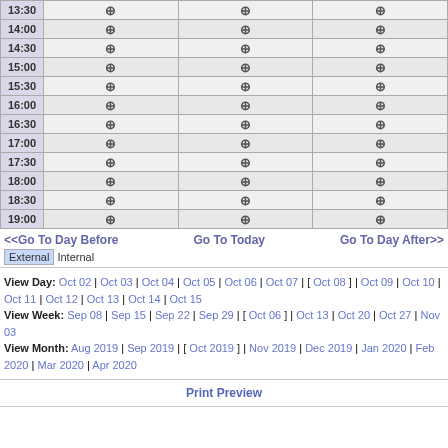| Time | Column1 | Column2 | Column3 |
| --- | --- | --- | --- |
| 13:30 | + | + | + |
| 14:00 | + | + | + |
| 14:30 | + | + | + |
| 15:00 | + | + | + |
| 15:30 | + | + | + |
| 16:00 | + | + | + |
| 16:30 | + | + | + |
| 17:00 | + | + | + |
| 17:30 | + | + | + |
| 18:00 | + | + | + |
| 18:30 | + | + | + |
| 19:00 | + | + | + |
<<Go To Day Before   Go To Today   Go To Day After>>
External Internal
View Day: Oct 02 | Oct 03 | Oct 04 | Oct 05 | Oct 06 | Oct 07 | [ Oct 08 ] | Oct 09 | Oct 10 | Oct 11 | Oct 12 | Oct 13 | Oct 14 | Oct 15 View Week: Sep 08 | Sep 15 | Sep 22 | Sep 29 | [ Oct 06 ] | Oct 13 | Oct 20 | Oct 27 | Nov 03 View Month: Aug 2019 | Sep 2019 | [ Oct 2019 ] | Nov 2019 | Dec 2019 | Jan 2020 | Feb 2020 | Mar 2020 | Apr 2020
Print Preview